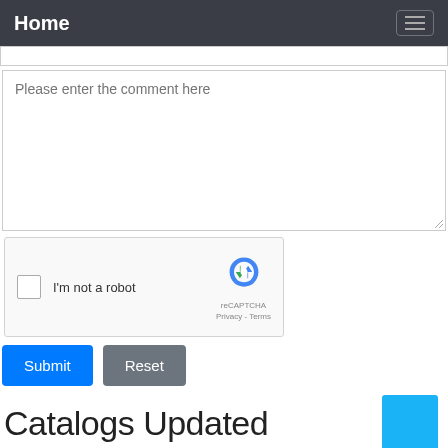Home
Please enter the comment here
[Figure (other): reCAPTCHA widget with checkbox 'I'm not a robot' and reCAPTCHA logo with Privacy and Terms links]
Submit  Reset
Catalogs Updated
› Roblox Accounts